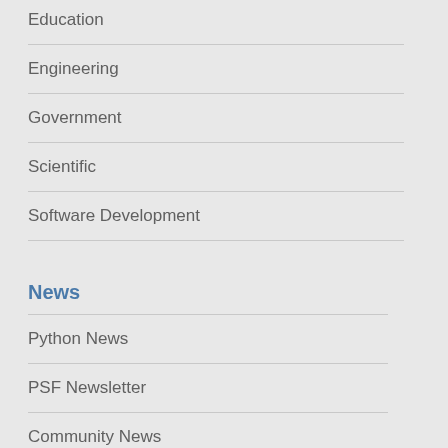Education
Engineering
Government
Scientific
Software Development
News
Python News
PSF Newsletter
Community News
PSF News